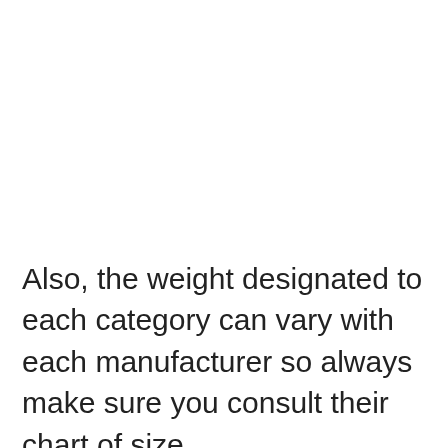Also, the weight designated to each category can vary with each manufacturer so always make sure you consult their chart of size